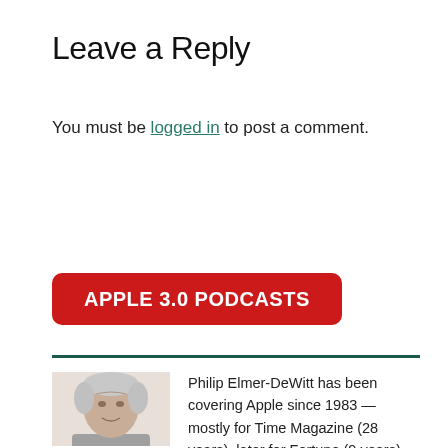Leave a Reply
You must be logged in to post a comment.
[Figure (other): Red rounded rectangle button labeled APPLE 3.0 PODCASTS]
[Figure (photo): Headshot photo of Philip Elmer-DeWitt, an older man with gray hair]
Philip Elmer-DeWitt has been covering Apple since 1983 — mostly for Time Magazine (28 years), later for Fortune (9 years), where he